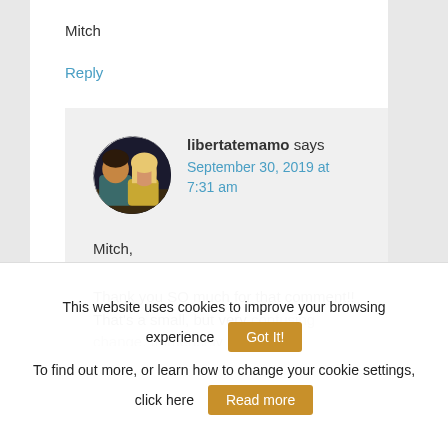Mitch
Reply
libertatemamo says
September 30, 2019 at 7:31 am
[Figure (photo): Circular avatar photo of two people (a man and a woman) in a dark setting]
Mitch,
Thank you SO much for that comment!! That's a small, but very confusing change. Immensely helpful.
This website uses cookies to improve your browsing experience
Got It!
To find out more, or learn how to change your cookie settings, click here
Read more